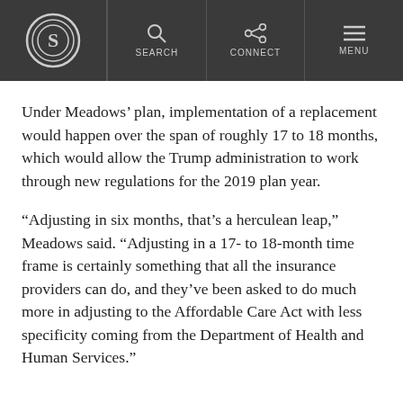S logo | SEARCH | CONNECT | MENU
Under Meadows’ plan, implementation of a replacement would happen over the span of roughly 17 to 18 months, which would allow the Trump administration to work through new regulations for the 2019 plan year.
“Adjusting in six months, that’s a herculean leap,” Meadows said. “Adjusting in a 17- to 18-month time frame is certainly something that all the insurance providers can do, and they’ve been asked to do much more in adjusting to the Affordable Care Act with less specificity coming from the Department of Health and Human Services.”